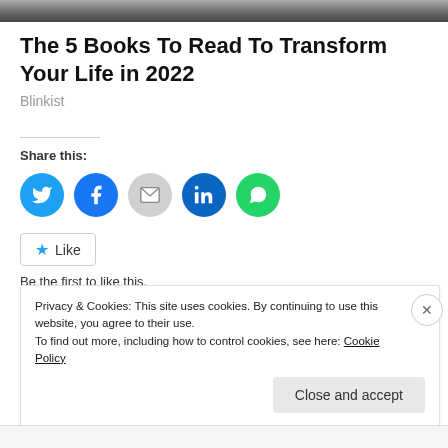[Figure (photo): Dark textured background image strip at the top of the page]
The 5 Books To Read To Transform Your Life in 2022
Blinkist
Share this:
[Figure (infographic): Social share buttons: Twitter (blue), Facebook (blue), Email (gray), LinkedIn (dark blue), WhatsApp (green)]
Like
Be the first to like this.
Privacy & Cookies: This site uses cookies. By continuing to use this website, you agree to their use.
To find out more, including how to control cookies, see here: Cookie Policy
Close and accept